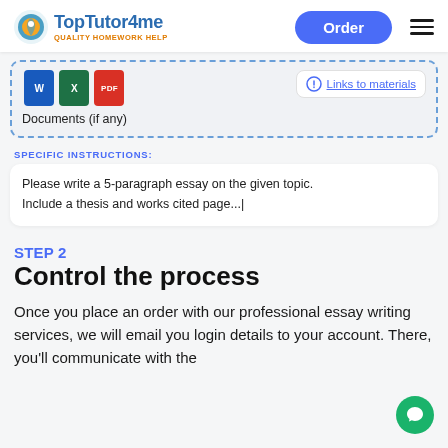[Figure (logo): TopTutor4me logo with circular icon]
[Figure (screenshot): Document upload area with Word, Excel, PDF icons and dashed border, plus Links to materials link]
SPECIFIC INSTRUCTIONS:
Please write a 5-paragraph essay on the given topic. Include a thesis and works cited page...|
STEP 2
Control the process
Once you place an order with our professional essay writing services, we will email you login details to your account. There, you'll communicate with the